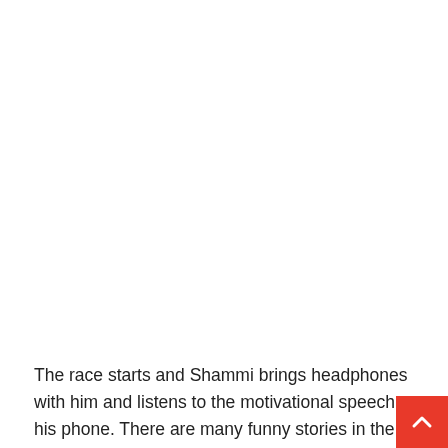The race starts and Shammi brings headphones with him and listens to the motivational speech on his phone. There are many funny stories in the race as Jayden's bicycle does not have brakes and this is revealed while traveling downside on the hill road. Similarly, Shammi also gets very tired while driving the skateboard but Austin had no problem as he was completing this race sitting on the mower.
After walking for some time Shammi decides to take the lift and luckily Shammi gets the lift, with great difficulty Shammi is able to sit in the car with his chair. Shammi was going in the